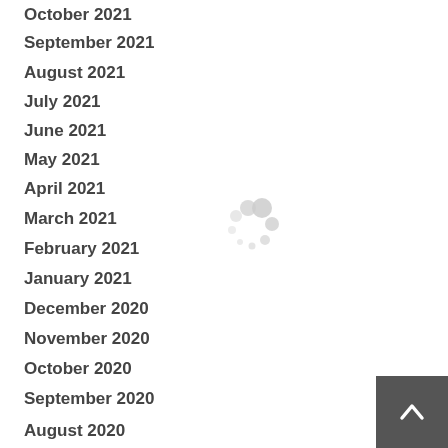October 2021
September 2021
August 2021
July 2021
June 2021
May 2021
April 2021
March 2021
February 2021
January 2021
December 2020
November 2020
October 2020
September 2020
August 2020
[Figure (other): Loading spinner animation — grey circles arranged in a spinning pattern]